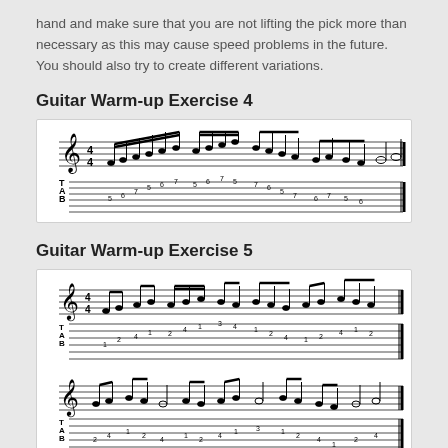hand and make sure that you are not lifting the pick more than necessary as this may cause speed problems in the future. You should also try to create different variations.
Guitar Warm-up Exercise 4
[Figure (illustration): Guitar tablature and musical notation for Guitar Warm-up Exercise 4, showing a single line of music with standard notation on top and tab notation below.]
Guitar Warm-up Exercise 5
[Figure (illustration): Guitar tablature and musical notation for Guitar Warm-up Exercise 5, showing two lines of music each with standard notation on top and tab notation below.]